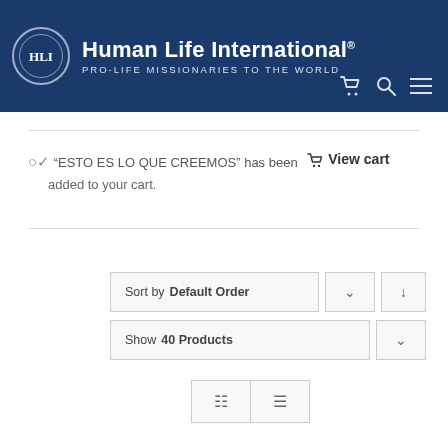[Figure (logo): Human Life International logo with circular emblem and text. PRO-LIFE MISSIONARIES TO THE WORLD tagline. Navigation icons (cart, search, menu) in top-right.]
☑ “ESTO ES LO QUE CREEMOS” has been added to your cart. ■ View cart
Sort by Default Order
Show 40 Products